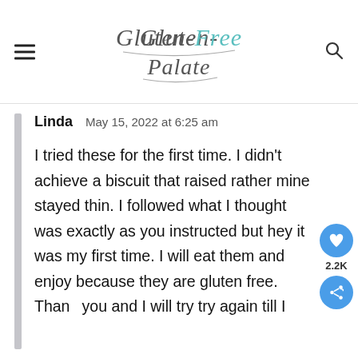Gluten-Free Palate
Linda   May 15, 2022 at 6:25 am

I tried these for the first time. I didn't achieve a biscuit that raised rather mine stayed thin. I followed what I thought was exactly as you instructed but hey it was my first time. I will eat them and enjoy because they are gluten free. Thank you and I will try try again till I